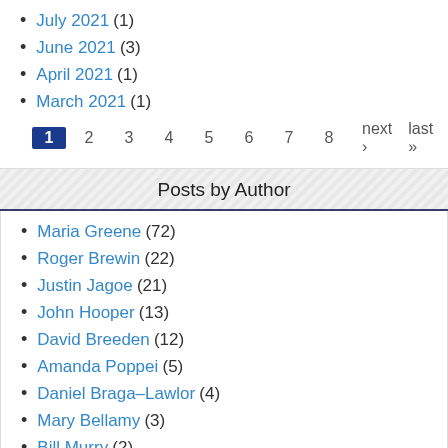July 2021 (1)
June 2021 (3)
April 2021 (1)
March 2021 (1)
1 2 3 4 5 6 7 8 next › last »
Posts by Author
Maria Greene (72)
Roger Brewin (22)
Justin Jagoe (21)
John Hooper (13)
David Breeden (12)
Amanda Poppei (5)
Daniel Braga-Lawlor (4)
Mary Bellamy (3)
Bill Murry (2)